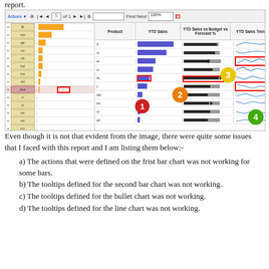report.
[Figure (screenshot): Screenshot of a report viewer showing a table with columns: Product, YTD Sales (blue bar chart), YTD Sales vs Budget vs Forecast % (bullet chart), and YTD Sales Trend (line sparklines). Left panel shows row labels with orange bars. Four numbered callout circles (1-4) highlight different sections: 1=red box on left bar, 2=orange circle center-left, 3=yellow circle on bullet chart, 4=green circle on trend column. Red boxes highlight specific cells.]
Even though it is not that evident from the image, there were quite some issues that I faced with this report and I am listing them below:-
a) The actions that were defined on the frist bar chart was not working for some bars.
b) The tooltips defined for the second bar chart was not working.
c) The tooltips defined for the bullet chart was not working.
d) The tooltips defined for the line chart was not working.